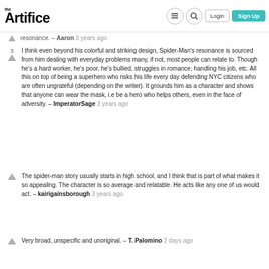the Artifice — Login | Sign Up
resonance. – Aaron 3 years ago
I think even beyond his colorful and striking design, Spider-Man's resonance is sourced from him dealing with everyday problems many, if not, most people can relate to. Though he's a hard worker, he's poor, he's bullied, struggles in romance, handling his job, etc. All this on top of being a superhero who risks his life every day defending NYC citizens who are often ungrateful (depending on the writer). It grounds him as a character and shows that anyone can wear the mask, i.e be a hero who helps others, even in the face of adversity. – ImperatorSage 3 years ago
The spider-man story usually starts in high school, and I think that is part of what makes it so appealing. The character is so average and relatable. He acts like any one of us would act. – kairigainsborough 3 years ago
Very broad, unspecific and unoriginal. – T. Palomino 2 days ago